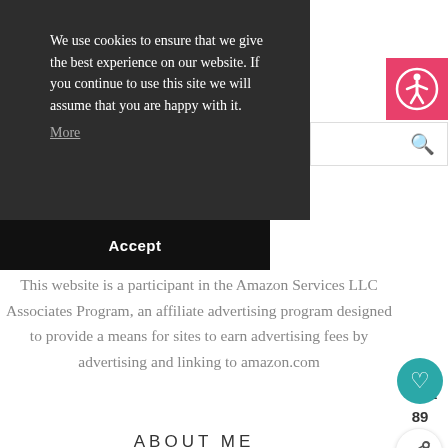We use cookies to ensure that we give the best experience on our website. If you continue to use this site we will assume that you are happy with it. More
Accept
[Figure (other): Pink accessibility icon with person in circle symbol]
[Figure (other): Search bar with magnifying glass icon]
This website is a participant in the Amazon Services LLC Associates Program, an affiliate advertising program designed to provide a means for sites to earn advertising fees by advertising and linking to amazon.com
89
ABOUT ME